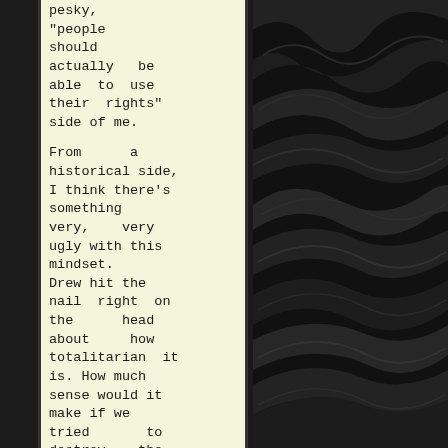pesky, "people should actually be able to use their rights" side of me.

From a historical side, I think there's something very, very ugly with this mindset. Drew hit the nail right on the head about how totalitarian it is. How much sense would it make if we tried to destroy the memory and public markers of everybody who fought and lost (every Britishman or Loyalist who fought the Revolution? Or the
[Figure (photo): Dark textured fabric or cloth background with deep black rippled folds occupying the right two-thirds of the page]